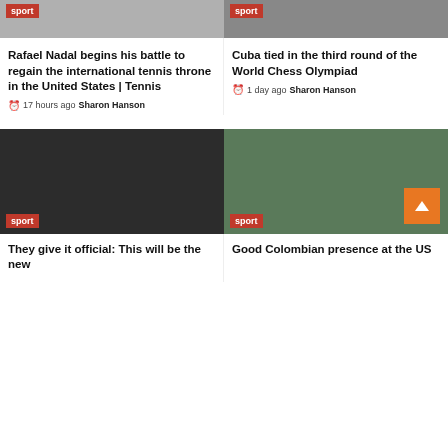[Figure (photo): Partial top image of Rafael Nadal article with sport badge]
[Figure (photo): Partial top image of Chess Olympiad article with sport badge]
Rafael Nadal begins his battle to regain the international tennis throne in the United States | Tennis
17 hours ago  Sharon Hanson
Cuba tied in the third round of the World Chess Olympiad
1 day ago  Sharon Hanson
[Figure (photo): Dark/black image with sport badge - bottom left card]
[Figure (photo): Colombian tennis player hitting forehand, sport badge visible]
They give it official: This will be the new
Good Colombian presence at the US